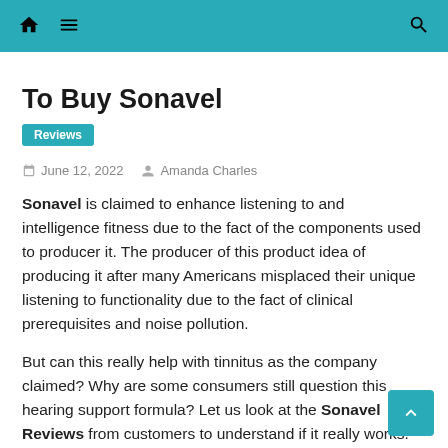Navigation bar with home, menu, and search icons
To Buy Sonavel
Reviews
June 12, 2022   Amanda Charles
Sonavel is claimed to enhance listening to and intelligence fitness due to the fact of the components used to producer it. The producer of this product idea of producing it after many Americans misplaced their unique listening to functionality due to the fact of clinical prerequisites and noise pollution.
But can this really help with tinnitus as the company claimed? Why are some consumers still question this hearing support formula? Let us look at the Sonavel Reviews from customers to understand if it really works.